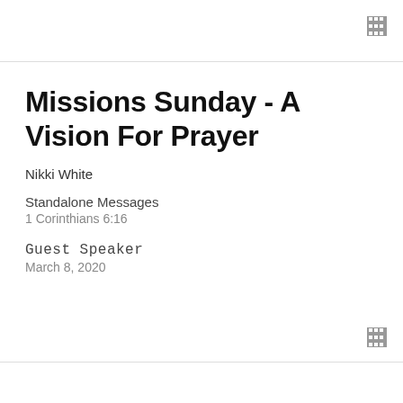[Figure (other): Film strip icon in top right corner]
Missions Sunday - A Vision For Prayer
Nikki White
Standalone Messages
1 Corinthians 6:16
Guest Speaker
March 8, 2020
[Figure (other): Film strip icon in bottom right area]